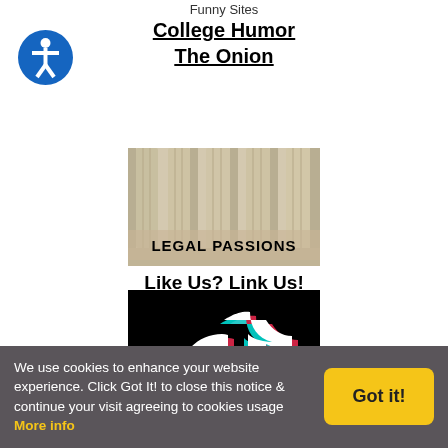Funny Sites
College Humor
The Onion
[Figure (logo): Legal Passions logo — photo of classical stone columns with text 'LEGAL PASSIONS' overlaid in bold black letters]
Like Us? Link Us!
[Figure (logo): TikTok logo — musical note icon in cyan and pink/red on black background]
Follow Passions Network on TikTok
We use cookies to enhance your website experience. Click Got It! to close this notice & continue your visit agreeing to cookies usage More info
Got it!